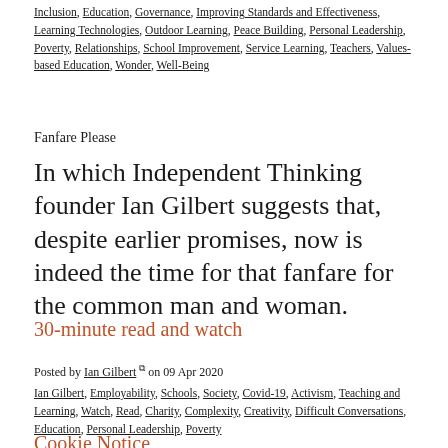Inclusion, Education, Governance, Improving Standards and Effectiveness, Learning Technologies, Outdoor Learning, Peace Building, Personal Leadership, Poverty, Relationships, School Improvement, Service Learning, Teachers, Values-based Education, Wonder, Well-Being
Fanfare Please
In which Independent Thinking founder Ian Gilbert suggests that, despite earlier promises, now is indeed the time for that fanfare for the common man and woman.
30-minute read and watch
Posted by Ian Gilbert on 09 Apr 2020
Ian Gilbert, Employability, Schools, Society, Covid-19, Activism, Teaching and Learning, Watch, Read, Charity, Complexity, Creativity, Difficult Conversations, Education, Personal Leadership, Poverty
Cookie Notice